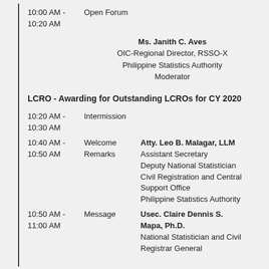10:00 AM - 10:20 AM    Open Forum
Ms. Janith C. Aves
OIC-Regional Director, RSSO-X
Philippine Statistics Authority
Moderator
LCRO - Awarding for Outstanding LCROs for CY 2020
10:20 AM - 10:30 AM    Intermission
10:40 AM - 10:50 AM    Welcome Remarks    Atty. Leo B. Malagar, LLM
Assistant Secretary
Deputy National Statistician
Civil Registration and Central Support Office
Philippine Statistics Authority
10:50 AM - 11:00 AM    Message    Usec. Claire Dennis S. Mapa, Ph.D.
National Statistician and Civil Registrar General